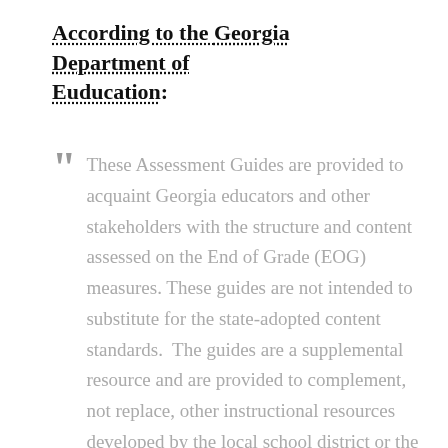According to the Georgia Department of Euducation:
“ These Assessment Guides are provided to acquaint Georgia educators and other stakeholders with the structure and content assessed on the End of Grade (EOG) measures. These guides are not intended to substitute for the state-adopted content standards. The guides are a supplemental resource and are provided to complement, not replace, other instructional resources developed by the local school district or the example resources provided by the Curriculum and Instruction Division of the Georgia Department of Education. In